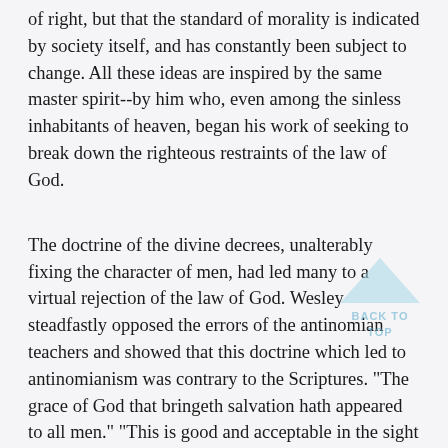of right, but that the standard of morality is indicated by society itself, and has constantly been subject to change. All these ideas are inspired by the same master spirit--by him who, even among the sinless inhabitants of heaven, began his work of seeking to break down the righteous restraints of the law of God.
The doctrine of the divine decrees, unalterably fixing the character of men, had led many to a virtual rejection of the law of God. Wesley steadfastly opposed the errors of the antinomian teachers and showed that this doctrine which led to antinomianism was contrary to the Scriptures. "The grace of God that bringeth salvation hath appeared to all men." "This is good and acceptable in the sight of God our Savior; who will have all men to be saved, and to come unto the knowledge of the truth. For there is one God, and one mediator between God and men, the man Christ Jesus; who gave Himself a ransom for